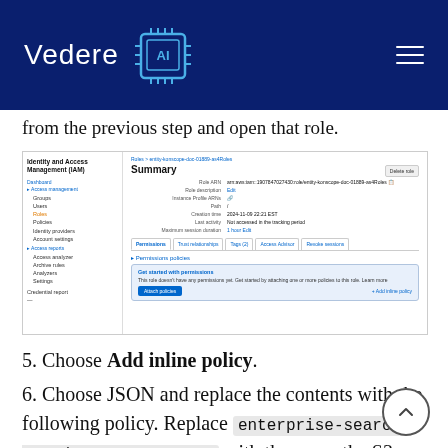[Figure (logo): Vedere AI logo with chip icon on dark blue background with hamburger menu icon]
from the previous step and open that role.
[Figure (screenshot): AWS IAM console screenshot showing a role Summary page with Permissions tab, including 'Add inline policy' and 'Attach policies' options]
5. Choose Add inline policy.
6. Choose JSON and replace the contents with the following policy. Replace enterprise-search-poc-ds-UNIQUE-SUFFIX with the name the S3 bucket that is configured as the data